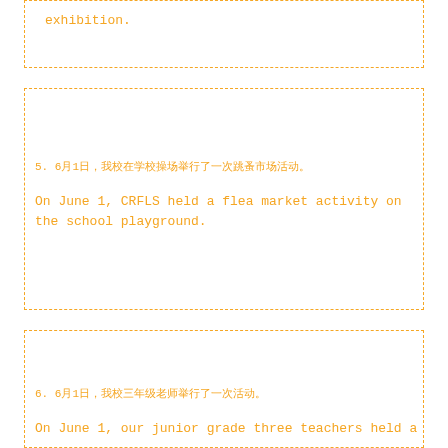exhibition.
5. 6月1日，我校在学校操场举行了一次跳蚤市场活动。
On June 1, CRFLS held a flea market activity on the school playground.
6. 6月1日，我校三年级老师举行了一次...
On June 1, our junior grade three teachers held a